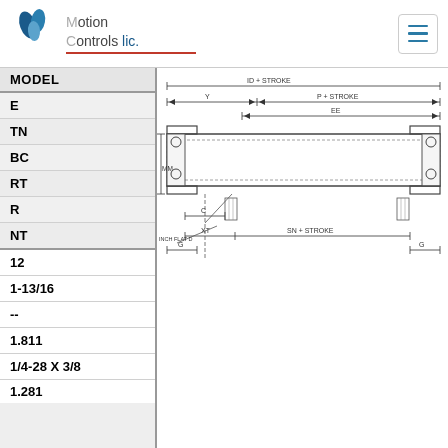Motion Controls LLC
| MODEL |  |
| --- | --- |
| E |  |
| TN |  |
| BC |  |
| RT |  |
| R |  |
| NT |  |
| 12 |  |
| 1-13/16 |  |
| -- |  |
| 1.811 |  |
| 1/4-28 X 3/8 |  |
| 1.281 |  |
[Figure (engineering-diagram): Cross-section engineering drawing of a pneumatic cylinder showing dimensions: Y, P+STROKE, EE, MM, C, XT, SN+STROKE, G, and other labeled dimension lines.]